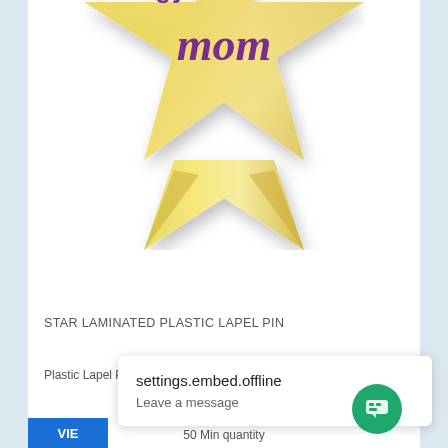[Figure (illustration): Gold star-shaped lapel pin with purple text reading 'gymnastic mom' on a white background. The star is cropped showing the bottom half with two ribbon-like tails and a shadow.]
STAR LAMINATED PLASTIC LAPEL PIN
Plastic Lapel Pins Include Either A Clutch Back Or Pin Fastener
from $1.11 to $1.43
50 Min quantity
VIE
settings.embed.offline
Leave a message